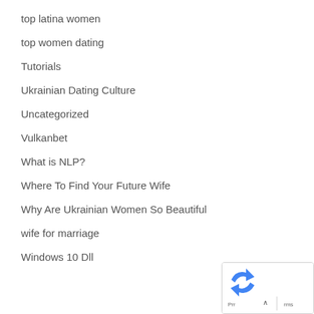top latina women
top women dating
Tutorials
Ukrainian Dating Culture
Uncategorized
Vulkanbet
What is NLP?
Where To Find Your Future Wife
Why Are Ukrainian Women So Beautiful
wife for marriage
Windows 10 Dll
[Figure (other): reCAPTCHA widget showing logo and Prr rms text with up arrow]